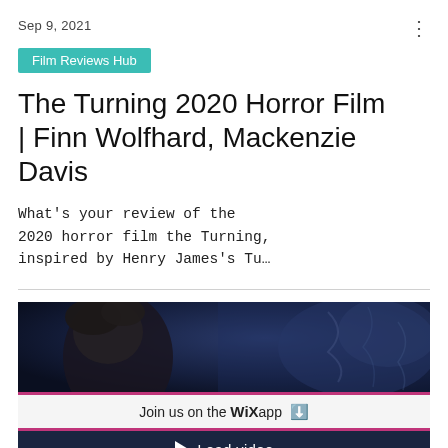Sep 9, 2021
Film Reviews Hub
The Turning 2020 Horror Film | Finn Wolfhard, Mackenzie Davis
What's your review of the 2020 horror film the Turning, inspired by Henry James's Tu…
[Figure (photo): Dark cinematic still from The Turning film, showing a person's head/silhouette in dim blue-tinted lighting]
Join us on the WiX app ⬇
▶ Load video